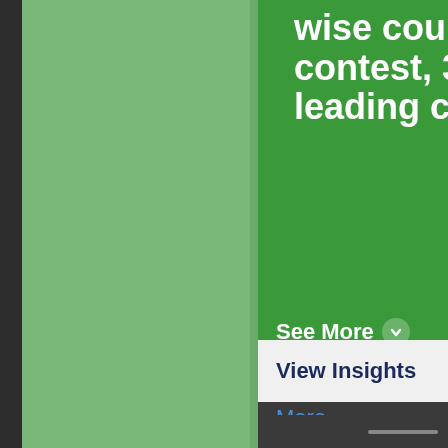[Figure (screenshot): A screenshot of a mobile app interface showing a cropped green card with bold white text (partially visible: 'wise cou', 'contest, 3', 'leading cu'), a 'See More' button with chevron, a 'View Insights' button in light gray, and a 'More' link in dark bar. The background is a medium green color with a narrow dark left edge.]